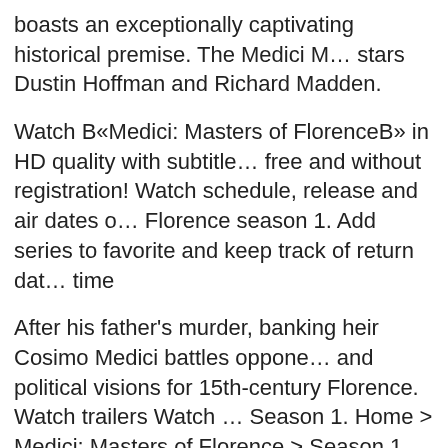boasts an exceptionally captivating historical premise. The Medici M… stars Dustin Hoffman and Richard Madden.
Watch B«Medici: Masters of FlorenceB» in HD quality with subtitle… free and without registration! Watch schedule, release and air dates o… Florence season 1. Add series to favorite and keep track of return dat… time
After his father's murder, banking heir Cosimo Medici battles oppone… and political visions for 15th-century Florence. Watch trailers Watch … Season 1. Home > Medici: Masters of Florence > Season 1. Cosimo … Rinaldo is held for trial on... Mar 1
Watch Medici: Masters of Florence - S01 Episode 2 Xmovies8 - A po… Florence in the early 15th century. Cosimo de' Medici finds himself a… Florence S01E01 - When heir Cosimo discovers that his father was p… Marco Bello on the assassin's trail.
Here you will find all the episodes of the seriesMedici: Masters of Fl… the broadcast episodes as the next episodes. Medici: Masters of Flor…